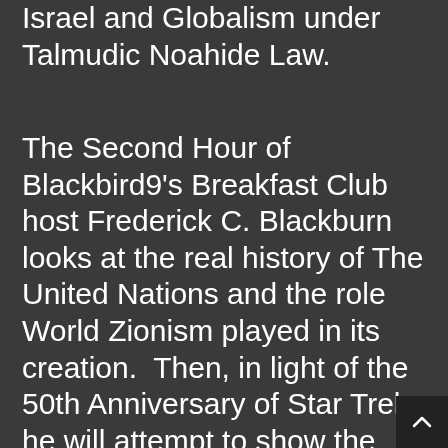Israel and Globalism under Talmudic Noahide Law.
The Second Hour of Blackbird9's Breakfast Club host Frederick C. Blackburn looks at the real history of The United Nations and the role World Zionism played in its creation.  Then, in light of the 50th Anniversary of Star Trek, he will attempt to show the Jewish and Freemasonic World View at the foundation of this long running science fiction franchise created by futurist Gene